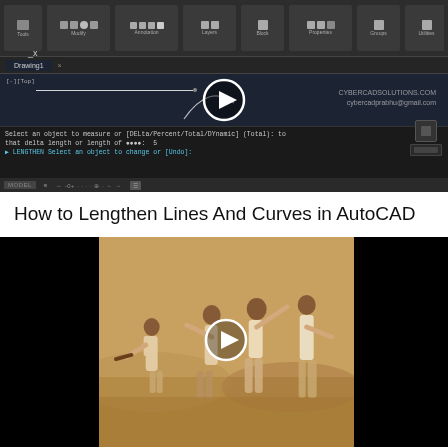[Figure (screenshot): AutoCAD software screenshot showing the interface with toolbar at top, dark canvas area with a line and curve, watermark text 'CYBERCADSOLUTIONS.COM cybercadprabhu@gmail.com', command line at bottom, and a play button overlay indicating this is a video thumbnail]
How to Lengthen Lines And Curves in AutoCAD
[Figure (screenshot): Video thumbnail showing a sepia-toned historical photograph of people in physical activity/fighting poses, with black bars on left and right sides, and a play button overlay]